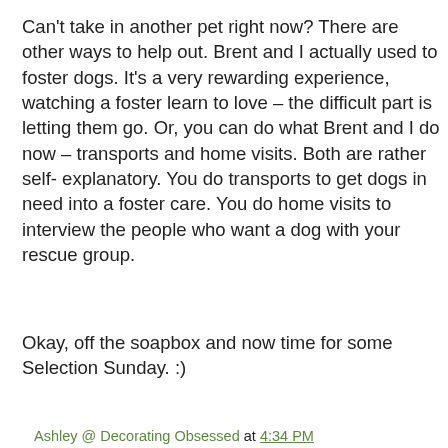Can't take in another pet right now? There are other ways to help out. Brent and I actually used to foster dogs. It's a very rewarding experience, watching a foster learn to love – the difficult part is letting them go. Or, you can do what Brent and I do now – transports and home visits. Both are rather self-explanatory. You do transports to get dogs in need into a foster care. You do home visits to interview the people who want a dog with your rescue group.
Okay, off the soapbox and now time for some Selection Sunday. :)
Ashley @ Decorating Obsessed at 4:34 PM
5 comments:
Anonymous March 14, 2010 at 7:30 PM
I think it is awesome what you do to save pets.SO MANY people think they are disposable.I am a huge dog lover and